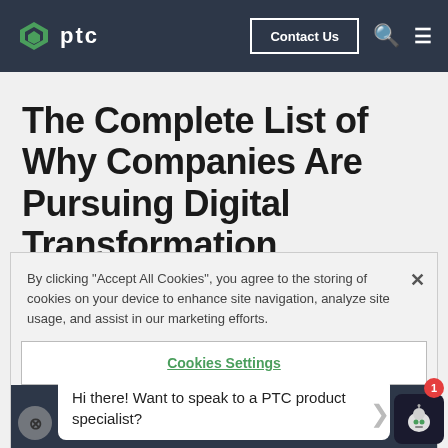ptc — Contact Us
The Complete List of Why Companies Are Pursuing Digital Transformation
By clicking "Accept All Cookies", you agree to the storing of cookies on your device to enhance site navigation, analyze site usage, and assist in our marketing efforts.
Cookies Settings
Reject All
Hi there! Want to speak to a PTC product specialist?